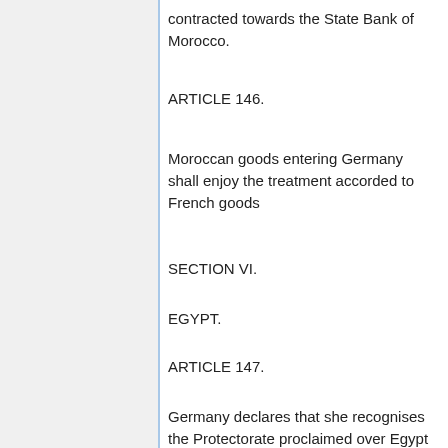contracted towards the State Bank of Morocco.
ARTICLE 146.
Moroccan goods entering Germany shall enjoy the treatment accorded to French goods
SECTION VI.
EGYPT.
ARTICLE 147.
Germany declares that she recognises the Protectorate proclaimed over Egypt by Great Britain on December 18, 1914, and that she renounces the regime of the Capitulations in Egypt.